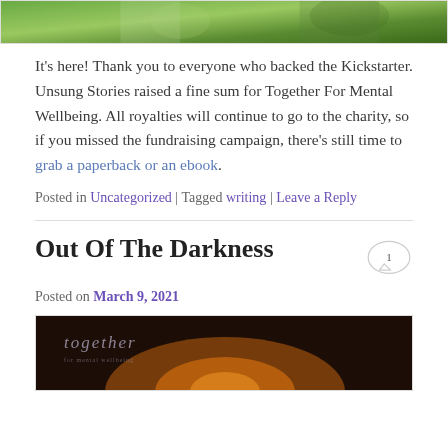[Figure (photo): Top portion of an image showing green foliage/plants, partially cropped]
It's here! Thank you to everyone who backed the Kickstarter. Unsung Stories raised a fine sum for Together For Mental Wellbeing. All royalties will continue to go to the charity, so if you missed the fundraising campaign, there's still time to grab a paperback or an ebook.
Posted in Uncategorized | Tagged writing | Leave a Reply
Out Of The Darkness
Posted on March 9, 2021
[Figure (photo): Dark image with 'together' text overlay and orange/red glowing light effect at bottom center]